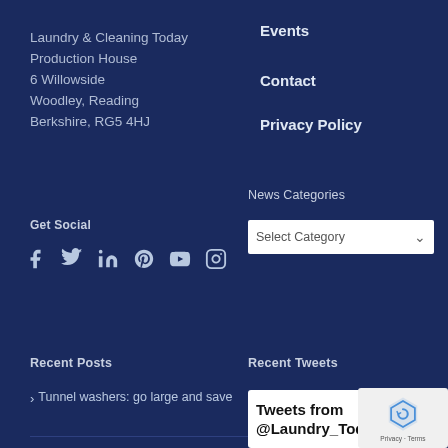Laundry & Cleaning Today
Production House
6 Willowside
Woodley, Reading
Berkshire, RG5 4HJ
Events
Contact
Privacy Policy
Get Social
[Figure (infographic): Social media icons row: Facebook, Twitter, LinkedIn, Pinterest, YouTube, Instagram]
News Categories
Select Category
Recent Posts
Tunnel washers: go large and save
Recent Tweets
Tweets from @Laundry_Tod
[Figure (other): reCAPTCHA logo with Privacy - Terms text]